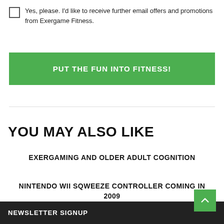Yes, please. I'd like to receive further email offers and promotions from Exergame Fitness.
PUT THE FUN INTO FITNESS!
YOU MAY ALSO LIKE
EXERGAMING AND OLDER ADULT COGNITION
NINTENDO WII SQWEEZE CONTROLLER COMING IN 2009
NEWSLETTER SIGNUP